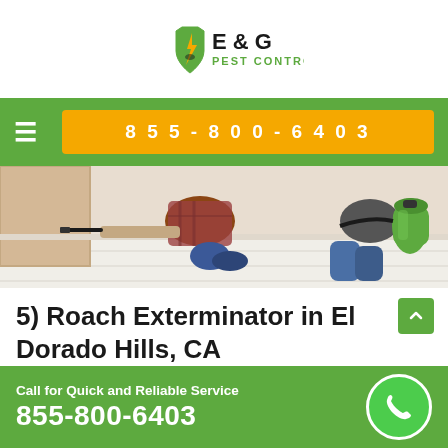[Figure (logo): E & G Pest Control logo with shield and lightning bolt icon]
855-800-6403
[Figure (photo): Pest control technician applying treatment along baseboard floor]
5) Roach Exterminator in El Dorado Hills, CA
Cockroaches are one of the most common pests in
Call for Quick and Reliable Service 855-800-6403